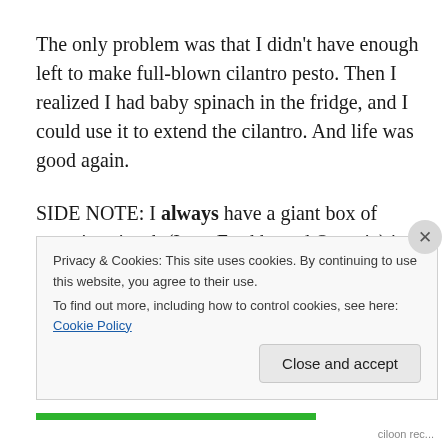The only problem was that I didn't have enough left to make full-blown cilantro pesto. Then I realized I had baby spinach in the fridge, and I could use it to extend the cilantro. And life was good again.

SIDE NOTE: I always have a giant box of organic spinach (I use Earthbound Organic) in my fridge and I recommend you do the same. I add it to eggs, use it as a salad base,
Privacy & Cookies: This site uses cookies. By continuing to use this website, you agree to their use.
To find out more, including how to control cookies, see here: Cookie Policy
Close and accept